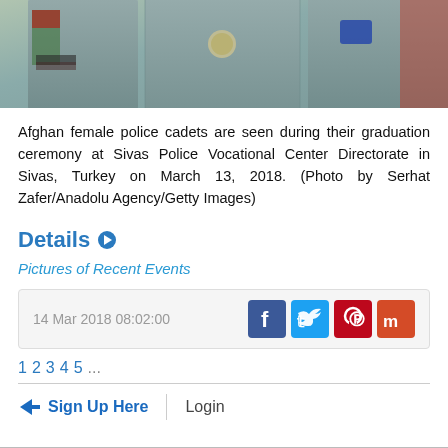[Figure (photo): Afghan female police cadets in grey uniforms photographed from torso down, partial view of military/police badges and insignia visible]
Afghan female police cadets are seen during their graduation ceremony at Sivas Police Vocational Center Directorate in Sivas, Turkey on March 13, 2018. (Photo by Serhat Zafer/Anadolu Agency/Getty Images)
Details
Pictures of Recent Events
14 Mar 2018 08:02:00
1 2 3 4 5 ...
Sign Up Here | Login